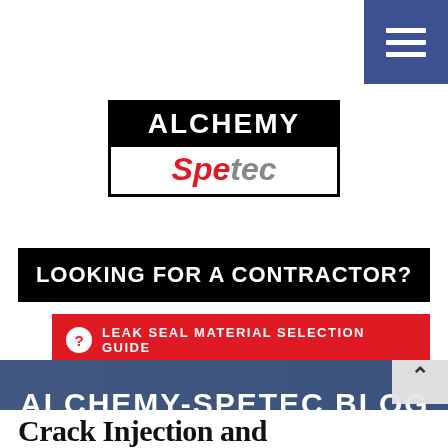[Figure (logo): Alchemy-Spetec logo: top black bar with ALCHEMY in white, bottom white bar with red italic 'Spe' and gray italic 'tec' text]
[Figure (infographic): Black banner button: LOOKING FOR A CONTRACTOR?]
[Figure (infographic): Red button with question mark icon: LEAK SEAL MATERIAL SELECTION GUIDE]
[Figure (photo): Blog banner with workers silhouette and text ALCHEMY-SPETEC BLOG]
Crack Injection and